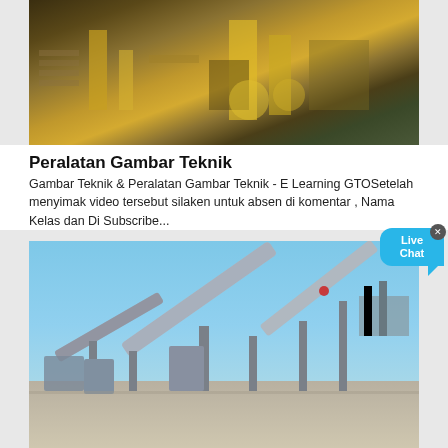[Figure (photo): Aerial/overhead view of industrial oil & gas or mining equipment yard with yellow machinery, pipes, and containers]
Peralatan Gambar Teknik
Gambar Teknik & Peralatan Gambar Teknik - E Learning GTOSetelah menyimak video tersebut silaken untuk absen di komentar , Nama Kelas dan Di Subscribe...
[Figure (photo): Industrial conveyor belt and crushing/screening plant equipment on open ground under blue sky]
Hemodilusi Normovolemik Akut [9n0k5p3z9x4v]
A. DEFINISI. Hemodilusi normovolemic (isovolemic) akut (HNA), juga disebut sebagai, hemodilusi intraoperatif